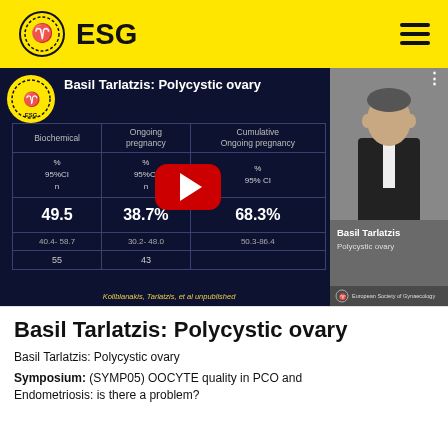ESG
[Figure (screenshot): Video thumbnail of Basil Tarlatzis presentation on Polycystic ovary, showing a data table with Biochemical, Ongoing pregnancy, and Cumulative Ongoing pregnancy columns with values 49.5, 38.7%, 68.3%, confidence intervals, and sample sizes. A YouTube play button is overlaid. Right side shows a photo of Basil Tarlatzis.]
Basil Tarlatzis: Polycystic ovary
Basil Tarlatzis: Polycystic ovary
Symposium: (SYMP05) OOCYTE quality in PCO and Endometriosis: is there a problem?